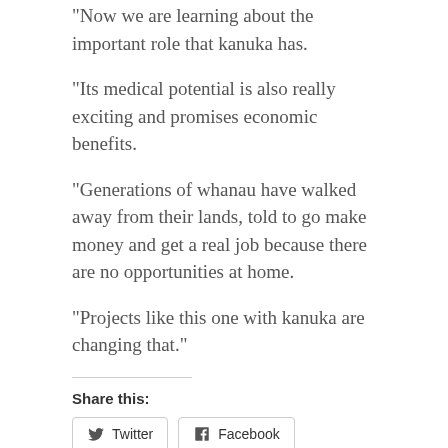“Now we are learning about the important role that kanuka has.
“Its medical potential is also really exciting and promises economic benefits.
“Generations of whanau have walked away from their lands, told to go make money and get a real job because there are no opportunities at home.
“Projects like this one with kanuka are changing that.”
Share this:
Twitter
Facebook
Like this:
Loading